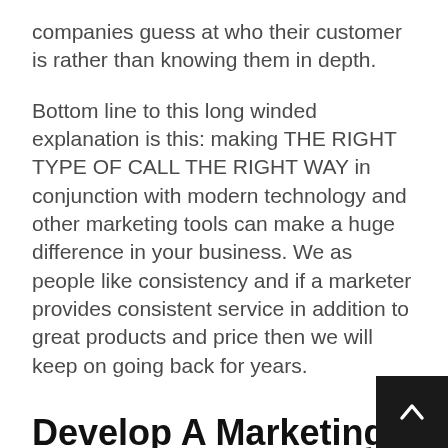companies guess at who their customer is rather than knowing them in depth.
Bottom line to this long winded explanation is this: making THE RIGHT TYPE OF CALL THE RIGHT WAY in conjunction with modern technology and other marketing tools can make a huge difference in your business. We as people like consistency and if a marketer provides consistent service in addition to great products and price then we will keep on going back for years.
Develop A Marketing And Marketing Communications Strategy And Plan For Small Or Midsized Companies